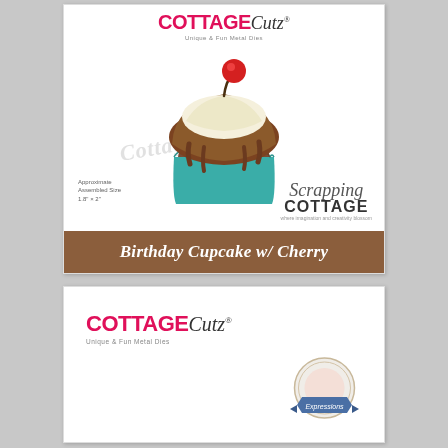[Figure (illustration): CottageCutz product card showing a chocolate cupcake with teal wrapper, white frosting, chocolate drizzle, and a red cherry on top. Includes CottageCutz logo, Scrapping Cottage logo, approximate size text, and a brown banner labeled Birthday Cupcake w/ Cherry.]
[Figure (logo): CottageCutz logo with pink COTTAGE text and italic Cutz, plus an Expressions badge/seal.]